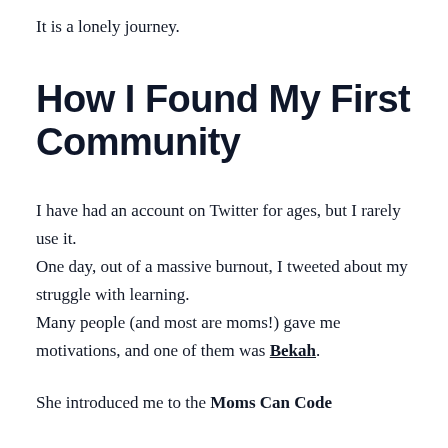It is a lonely journey.
How I Found My First Community
I have had an account on Twitter for ages, but I rarely use it.
One day, out of a massive burnout, I tweeted about my struggle with learning.
Many people (and most are moms!) gave me motivations, and one of them was Bekah.
She introduced me to the Moms Can Code